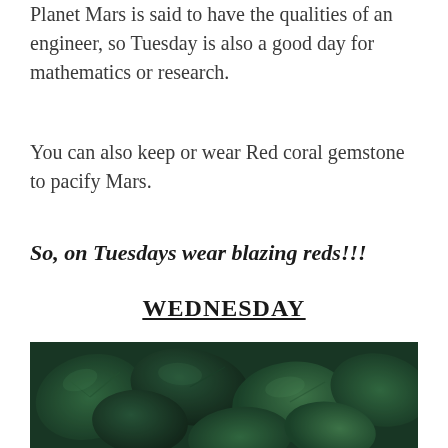Planet Mars is said to have the qualities of an engineer, so Tuesday is also a good day for mathematics or research.
You can also keep or wear Red coral gemstone to pacify Mars.
So, on Tuesdays wear blazing reds!!!
WEDNESDAY
[Figure (photo): Close-up photograph of dense green leaves filling the frame, dark green tones with light accents highlighting leaf texture.]